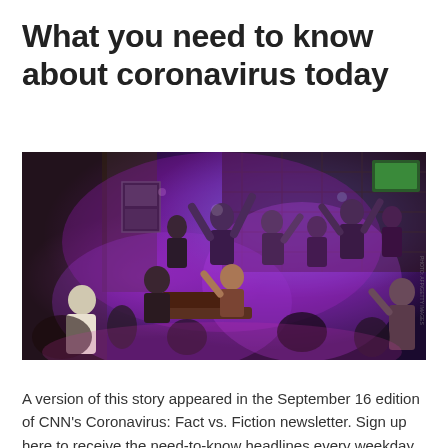What you need to know about coronavirus today
[Figure (photo): Crowd of people dancing and socializing in a dimly lit bar or nightclub, illuminated by purple and blue lighting.]
A version of this story appeared in the September 16 edition of CNN’s Coronavirus: Fact vs. Fiction newsletter. Sign up here to receive the need-to-know headlines every weekday. At an ABC town hall in the crucial swing state of Pennsylvania, the President hit back at a question over his